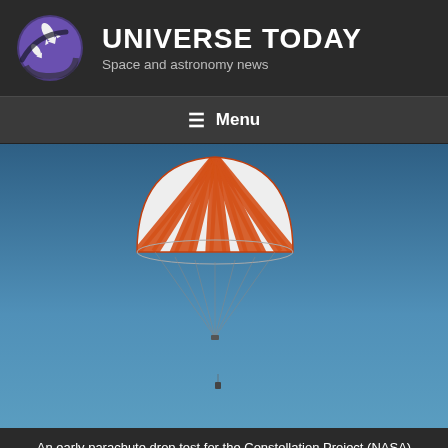UNIVERSE TODAY — Space and astronomy news
≡ Menu
[Figure (photo): A parachute with orange and white stripes descending against a blue sky during an early Constellation Project drop test. A small payload or test article is visible lower in the frame suspended beneath the parachute.]
An early parachute drop test for the Constellation Project (NASA)